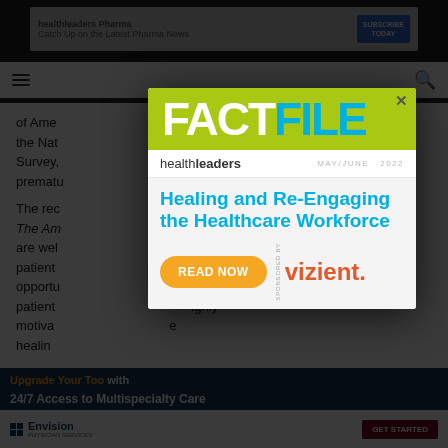[Figure (screenshot): Screenshot of a HealthLeaders web page with a modal popup advertisement. The background shows a dark navigation bar with a gray ad banner for 'healthleaders Pharma – Catch Up on the Latest Pharma News'. Behind the modal, body text reads about American nurses, the National Health Survey, and premature content. A second background text paragraph mentions 'The Am...' and hospitals. At the bottom, another ad for Envision Physician Services shows '24/7 Access to Multispecialty Care' with a GET STARTED button. Overlaid is a modal popup labeled FACTFILE by healthleaders for May/June 2022, with headline 'Healing and Re-Engaging the Healthcare Workforce', a READ NOW button, and Vizient sponsorship logo.]
FACTFILE
healthleaders   MAY/JUNE 2022
Healing and Re-Engaging the Healthcare Workforce
READ NOW
SPONSORED BY vizient.
Upgrade Your Too  24/7 Access to Multispecialty Care
Envision PHYSICIAN SERVICES  GET STARTED